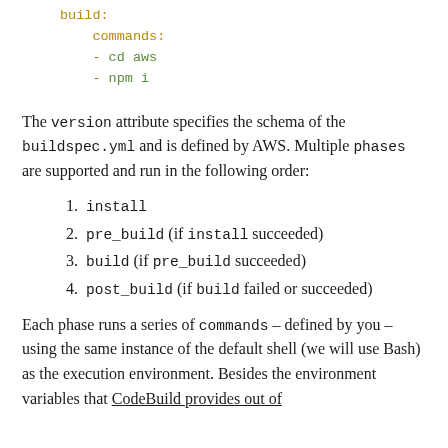build:
      commands:
      - cd aws
      - npm i
The version attribute specifies the schema of the buildspec.yml and is defined by AWS. Multiple phases are supported and run in the following order:
1. install
2. pre_build (if install succeeded)
3. build (if pre_build succeeded)
4. post_build (if build failed or succeeded)
Each phase runs a series of commands – defined by you – using the same instance of the default shell (we will use Bash) as the execution environment. Besides the environment variables that CodeBuild provides out of